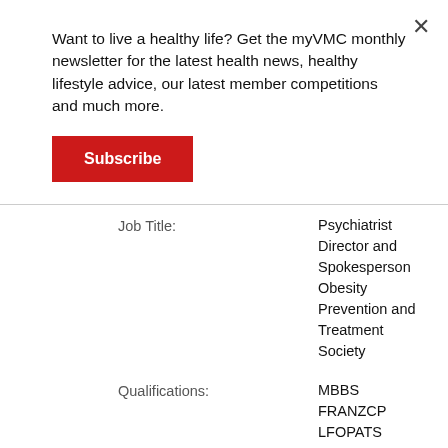Want to live a healthy life? Get the myVMC monthly newsletter for the latest health news, healthy lifestyle advice, our latest member competitions and much more.
Subscribe
Job Title:
Psychiatrist Director and Spokesperson Obesity Prevention and Treatment Society
Qualifications:
MBBS FRANZCP LFOPATS
Name:
Dr David Blakey
Institution:
Peter MacCallum Hospital, VIC
Job Title:
Radiation Oncologist
Name:
Dr Robert Blum